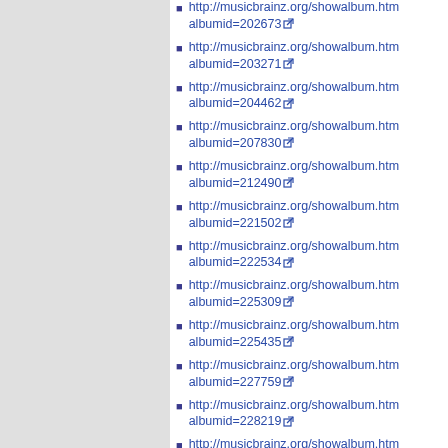http://musicbrainz.org/showalbum.html?albumid=202673
http://musicbrainz.org/showalbum.html?albumid=203271
http://musicbrainz.org/showalbum.html?albumid=204462
http://musicbrainz.org/showalbum.html?albumid=207830
http://musicbrainz.org/showalbum.html?albumid=212490
http://musicbrainz.org/showalbum.html?albumid=221502
http://musicbrainz.org/showalbum.html?albumid=222534
http://musicbrainz.org/showalbum.html?albumid=225309
http://musicbrainz.org/showalbum.html?albumid=225435
http://musicbrainz.org/showalbum.html?albumid=227759
http://musicbrainz.org/showalbum.html?albumid=228219
http://musicbrainz.org/showalbum.html?albumid=228221